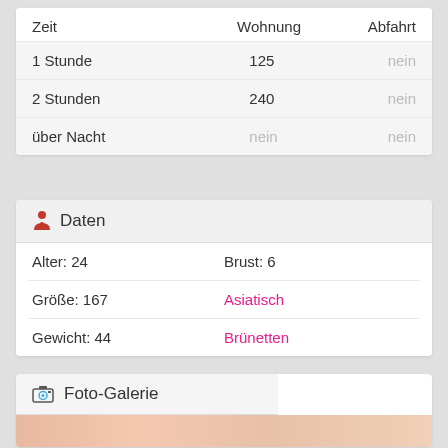| Zeit | Wohnung | Abfahrt |
| --- | --- | --- |
| 1 Stunde | 125 | nein |
| 2 Stunden | 240 | nein |
| über Nacht | nein | nein |
Daten
| Alter: 24 | Brust: 6 |
| Größe: 167 | Asiatisch |
| Gewicht: 44 | Brünetten |
Foto-Galerie
[Figure (photo): Partial photo strip visible at bottom of page]